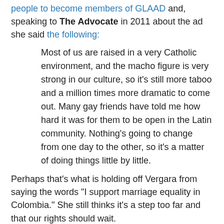people to become members of GLAAD and, speaking to The Advocate in 2011 about the ad she said the following:
Most of us are raised in a very Catholic environment, and the macho figure is very strong in our culture, so it's still more taboo and a million times more dramatic to come out. Many gay friends have told me how hard it was for them to be open in the Latin community. Nothing's going to change from one day to the other, so it's a matter of doing things little by little.
Perhaps that's what is holding off Vergara from saying the words "I support marriage equality in Colombia." She still thinks it's a step too far and that our rights should wait.
If that's the case, that's bullshit. The time for Vergara and stars like Shakira and Juanes to stand firm on the side of equality is right now.
---  FULL TRANSLATED TRANSCRIPT  ---
Dr. Martha Lucia Cuéllar's statements before the